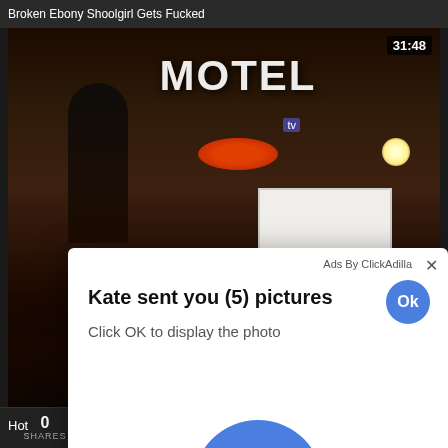Broken Ebony Shoolgirl Gets Fucked
[Figure (screenshot): Video player showing a night-time motel sign street scene, with a dark figure in foreground. Timestamp 31:48 shown in top-right corner.]
Ads By ClickAdilla
Kate sent you (5) pictures
Click OK to display the photo
Ok
Ok
Hot
0 SHARES a1h +